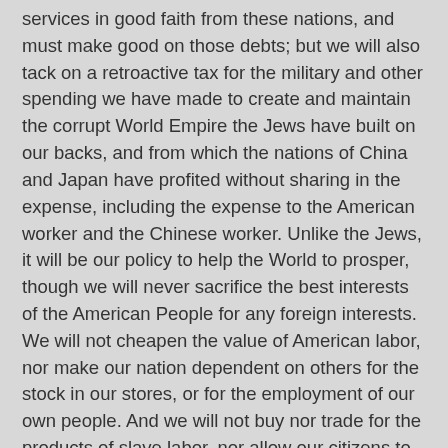services in good faith from these nations, and must make good on those debts; but we will also tack on a retroactive tax for the military and other spending we have made to create and maintain the corrupt World Empire the Jews have built on our backs, and from which the nations of China and Japan have profited without sharing in the expense, including the expense to the American worker and the Chinese worker. Unlike the Jews, it will be our policy to help the World to prosper, though we will never sacrifice the best interests of the American People for any foreign interests. We will not cheapen the value of American labor, nor make our nation dependent on others for the stock in our stores, or for the employment of our own people. And we will not buy nor trade for the products of slave labor, nor allow our citizens to profit from foreign labor without sharing those profits with the American People generally, the American People who enforce their power and provide their opportunities.
We have indeed received goods from China and Japan. We are not thieves, but neither are we fools. We will pay for what we have received, but we will also tax for the exploitation of